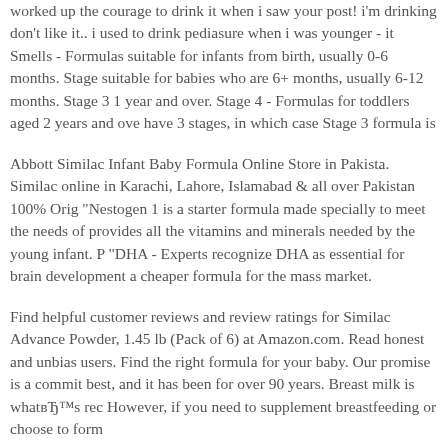worked up the courage to drink it when i saw your post! i'm drinking don't like it.. i used to drink pediasure when i was younger - it Smells - Formulas suitable for infants from birth, usually 0-6 months. Stage suitable for babies who are 6+ months, usually 6-12 months. Stage 3 1 year and over. Stage 4 - Formulas for toddlers aged 2 years and over have 3 stages, in which case Stage 3 formula is
Abbott Similac Infant Baby Formula Online Store in Pakista. Similac online in Karachi, Lahore, Islamabad & all over Pakistan 100% Orig "Nestogen 1 is a starter formula made specially to meet the needs of provides all the vitamins and minerals needed by the young infant. P "DHA - Experts recognize DHA as essential for brain development a cheaper formula for the mass market.
Find helpful customer reviews and review ratings for Similac Advance Powder, 1.45 lb (Pack of 6) at Amazon.com. Read honest and unbias users. Find the right formula for your baby. Our promise is a commit best, and it has been for over 90 years. Breast milk is whatвЂ™s rec However, if you need to supplement breastfeeding or choose to form